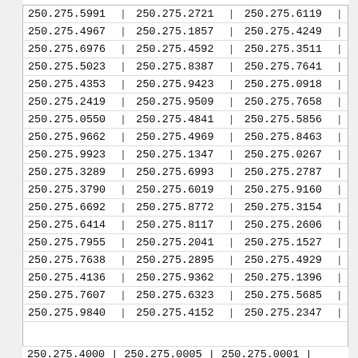| col1 | col2 | col3 |
| --- | --- | --- |
| 250.275.5991 | 250.275.2721 | 250.275.6119 |
| 250.275.4967 | 250.275.1857 | 250.275.4249 |
| 250.275.6976 | 250.275.4592 | 250.275.3511 |
| 250.275.5023 | 250.275.8387 | 250.275.7641 |
| 250.275.4353 | 250.275.9423 | 250.275.0918 |
| 250.275.2419 | 250.275.9509 | 250.275.7658 |
| 250.275.0550 | 250.275.4841 | 250.275.5856 |
| 250.275.9662 | 250.275.4969 | 250.275.8463 |
| 250.275.9923 | 250.275.1347 | 250.275.0267 |
| 250.275.3289 | 250.275.6993 | 250.275.2787 |
| 250.275.3790 | 250.275.6019 | 250.275.9160 |
| 250.275.6692 | 250.275.8772 | 250.275.3154 |
| 250.275.6414 | 250.275.8117 | 250.275.2606 |
| 250.275.7955 | 250.275.2041 | 250.275.1527 |
| 250.275.7638 | 250.275.2895 | 250.275.4929 |
| 250.275.4136 | 250.275.9362 | 250.275.1396 |
| 250.275.7607 | 250.275.6323 | 250.275.5685 |
| 250.275.9840 | 250.275.4152 | 250.275.2347 |
| 250.275.4000 | 250.275.0005 | 250.275.0001 |